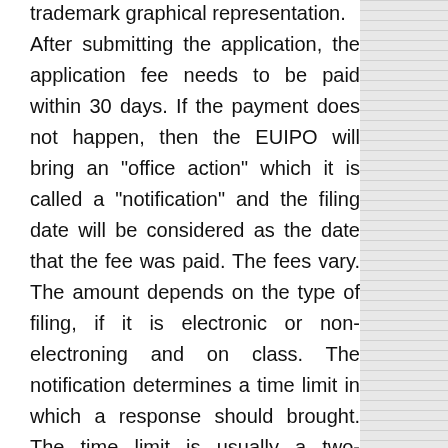trademark graphical representation. After submitting the application, the application fee needs to be paid within 30 days. If the payment does not happen, then the EUIPO will bring an "office action" which it is called a "notification" and the filing date will be considered as the date that the fee was paid. The fees vary. The amount depends on the type of filing, if it is electronic or non-electroning and on class. The notification determines a time limit in which a response should brought. The time limit is usually a two-months-period and it can only be extended if the applicant makes a written request before the end of the limited period. Lastly, if the trademark gets accepted, the application will be published...